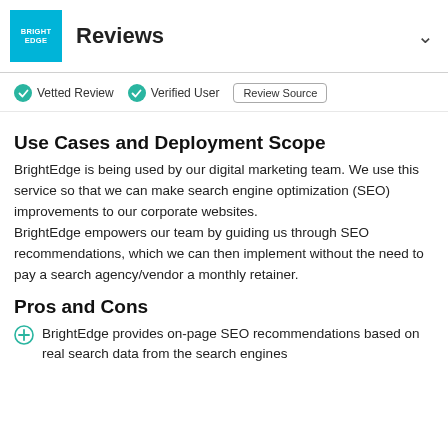BrightEdge Reviews
Vetted Review   Verified User   Review Source
Use Cases and Deployment Scope
BrightEdge is being used by our digital marketing team. We use this service so that we can make search engine optimization (SEO) improvements to our corporate websites.
BrightEdge empowers our team by guiding us through SEO recommendations, which we can then implement without the need to pay a search agency/vendor a monthly retainer.
Pros and Cons
BrightEdge provides on-page SEO recommendations based on real search data from the search engines